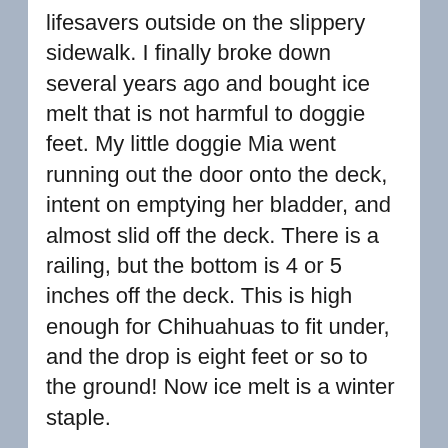lifesavers outside on the slippery sidewalk. I finally broke down several years ago and bought ice melt that is not harmful to doggie feet. My little doggie Mia went running out the door onto the deck, intent on emptying her bladder, and almost slid off the deck. There is a railing, but the bottom is 4 or 5 inches off the deck. This is high enough for Chihuahuas to fit under, and the drop is eight feet or so to the ground! Now ice melt is a winter staple.
As I was scattering ice melt this morning I noticed how quickly it works. Little holes appear in the ice within a minute, and soon ice and snow are melted. The City of Fort Collins gives homeowners 24 hours to clear their sidewalks. If the City does the sidewalk they charge the homeowner a hefty fee. I walk a lot, and walk my dogs, and I really do appreciate ice free sidewalks. I think daggers when